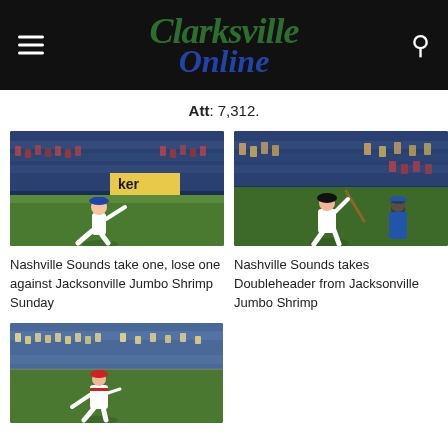Clarksville Online
Att: 7,312.
[Figure (photo): Baseball pitcher in white uniform mid-pitch on field, night game, crowd and 'ker' signage in background]
[Figure (photo): Baseball batter in white uniform at bat, catcher and crowd in background, night game]
Nashville Sounds take one, lose one against Jacksonville Jumbo Shrimp Sunday
Nashville Sounds takes Doubleheader from Jacksonville Jumbo Shrimp
[Figure (photo): Baseball pitcher in white and red uniform winding up for a pitch, stadium crowd in background]